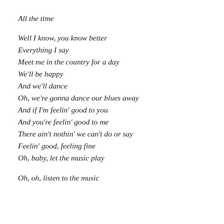All the time
Well I know, you know better
Everything I say
Meet me in the country for a day
We'll be happy
And we'll dance
Oh, we're gonna dance our blues away
And if I'm feelin' good to you
And you're feelin' good to me
There ain't nothin' we can't do or say
Feelin' good, feeling fine
Oh, baby, let the music play
Oh, oh, listen to the music